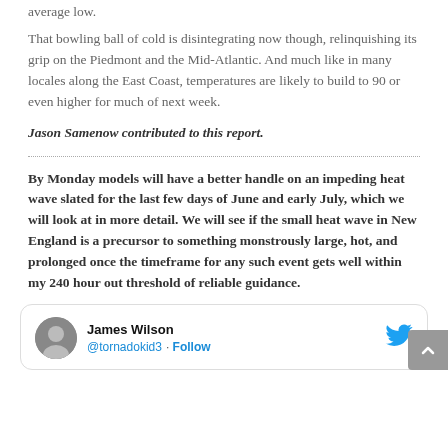average low.
That bowling ball of cold is disintegrating now though, relinquishing its grip on the Piedmont and the Mid-Atlantic. And much like in many locales along the East Coast, temperatures are likely to build to 90 or even higher for much of next week.
Jason Samenow contributed to this report.
By Monday models will have a better handle on an impeding heat wave slated for the last few days of June and early July, which we will look at in more detail. We will see if the small heat wave in New England is a precursor to something monstrously large, hot, and prolonged once the timeframe for any such event gets well within my 240 hour out threshold of reliable guidance.
[Figure (screenshot): Tweet card from James Wilson (@tornadokid3) with Follow button and Twitter bird logo]